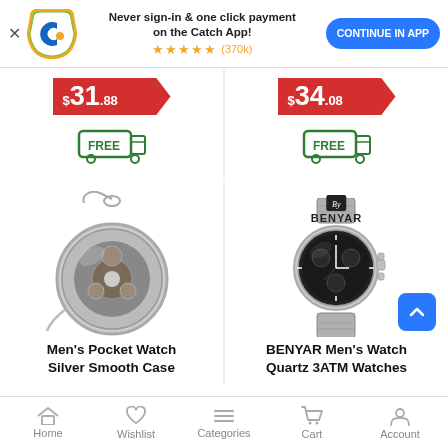[Figure (screenshot): App promotion banner with Catch logo, text 'Never sign-in & one click payment on the Catch App!', star rating (370k reviews), and CONTINUE IN APP button]
$31.88
[Figure (illustration): Green FREE delivery truck icon badge]
$34.08
[Figure (illustration): Green FREE delivery truck icon badge]
[Figure (photo): Men's Pocket Watch Silver Smooth Case with open face showing mechanical movement, with chain]
Men's Pocket Watch Silver Smooth Case
[Figure (photo): BENYAR Men's Watch Quartz 3ATM Watches - silver chronograph watch with black dial on metal bracelet]
BENYAR Men's Watch Quartz 3ATM Watches
Home  Wishlist  Categories  Cart  Account